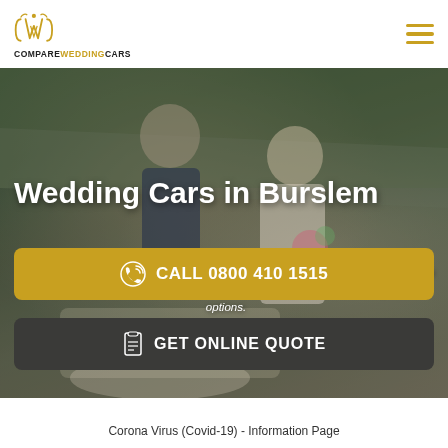[Figure (logo): CompareWeddingCars logo with stylized CWC monogram in gold and text COMPAREWEDDINGCARS below]
[Figure (photo): Wedding photo of groom in navy suit with bow tie and bride in cream dress standing in front of a vintage cream/white car, green trees in background]
Wedding Cars in Burslem
Wedding Cars in Burslem and Staffordshire. From Classic Wedding Cars, Modern Wedding Cars, Stretch Limos, Sports Cars, Novelty Vehicles to many more options.
CALL 0800 410 1515
GET ONLINE QUOTE
Corona Virus (Covid-19) - Information Page